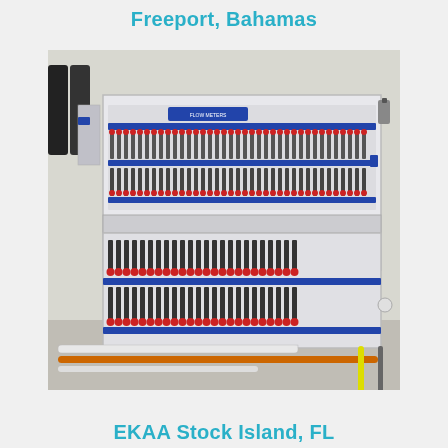Freeport, Bahamas
[Figure (photo): Industrial flow meter panel mounted on a white cabinet wall. The panel features two horizontal rows of multiple flow meters with red and blue fittings, valves, and associated piping. Orange and white pipes run along the floor below the cabinet. The panel appears to be in a treatment or process facility.]
EKAA Stock Island, FL